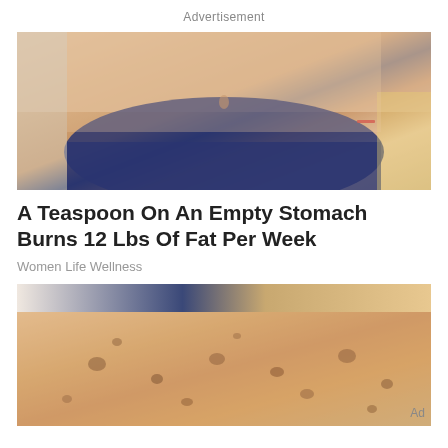Advertisement
[Figure (photo): Close-up photo of a person's midsection wearing dark blue bikini bottoms, showing bare stomach and torso]
A Teaspoon On An Empty Stomach Burns 12 Lbs Of Fat Per Week
Women Life Wellness
[Figure (photo): Close-up photo of skin on a leg showing age spots and skin blemishes]
Ad